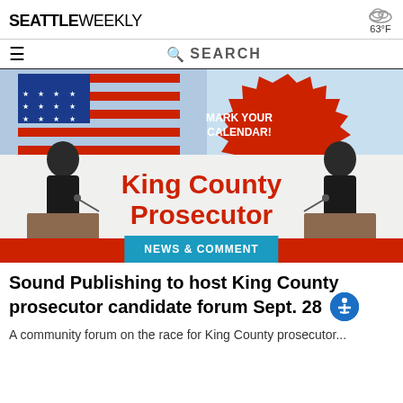SEATTLE WEEKLY | 63°F
[Figure (screenshot): King County Prosecutor Candidate Forum promotional image with American flag background, two silhouetted debaters at podiums, red bold text 'King County Prosecutor Candidate Forum' and a red starburst badge reading 'MARK YOUR CALENDAR!']
NEWS & COMMENT
Sound Publishing to host King County prosecutor candidate forum Sept. 28
Article preview text continues below...